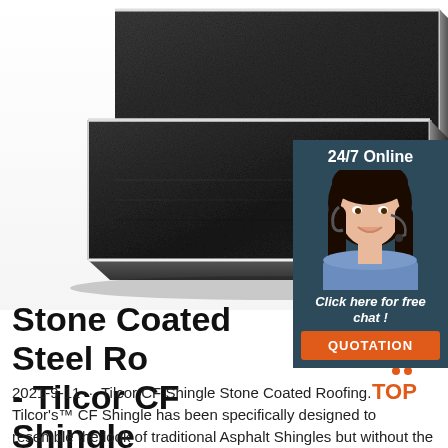[Figure (photo): Close-up photo of dark stone-coated steel roofing shingles (Tilcor CF Shingle), showing textured dark grey/black surface with white edges, stacked at an angle on a white background.]
[Figure (infographic): Chat widget with dark teal background showing '24/7 Online' header, a smiling female customer service representative with headset, text 'Click here for free chat !' and an orange QUOTATION button.]
Stone Coated Steel Ro- - Tilcor CF Shingle
2021-9-11 · Tilcor CF Shingle Stone Coated Roofing. Tilcor's™ CF Shingle has been specifically designed to resemble the look of traditional Asphalt Shingles but without the inherent ongoing issues that many home owners
[Figure (logo): TOP logo with orange color scheme showing a house/roof icon above the word TOP in orange.]